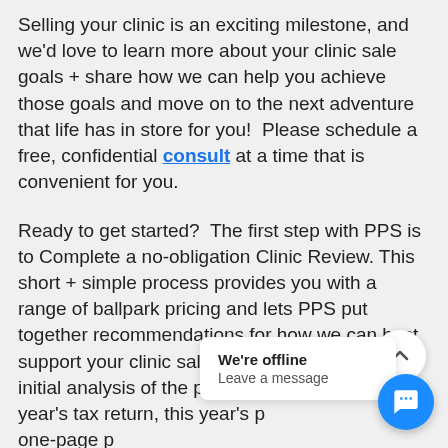Selling your clinic is an exciting milestone, and we'd love to learn more about your clinic sale goals + share how we can help you achieve those goals and move on to the next adventure that life has in store for you!  Please schedule a free, confidential consult at a time that is convenient for you.
Ready to get started?  The first step with PPS is to Complete a no-obligation Clinic Review. This short + simple process provides you with a range of ballpark pricing and lets PPS put together recommendations for how we can best support your clinic sale goals. We perform an initial analysis of the practice based on last year's tax return, this year's p... one-page p... the analysis... within a week of receiving all practice